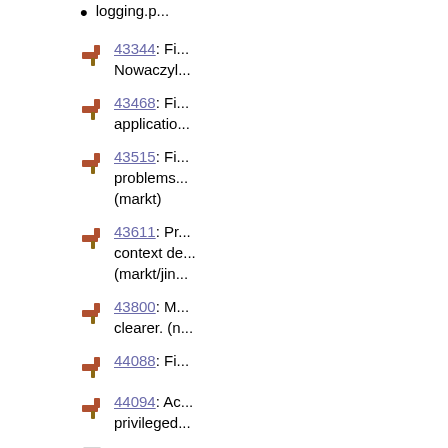logging.p...
43344: Fi... Nowaczyl...
43468: Fi... applicatio...
43515: Fi... problems... (markt)
43611: Pr... context de... (markt/jin...
43800: M... clearer. (n...
44088: Fi...
44094: Ac... privileged...
Update JN... context.xr...
Cluster
Fix FarmV... (nero)